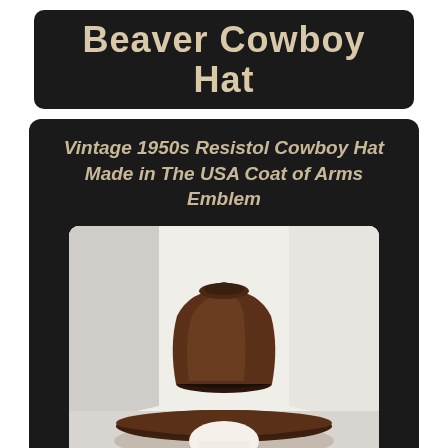Beaver Cowboy Hat
Vintage 1950s Resistol Cowboy Hat Made in The USA Coat of Arms Emblem
[Figure (photo): A dark brown vintage 1950s Resistol cowboy hat displayed on a white mannequin head against a light background, showing the wide brim and structured crown typical of Western-style hats.]